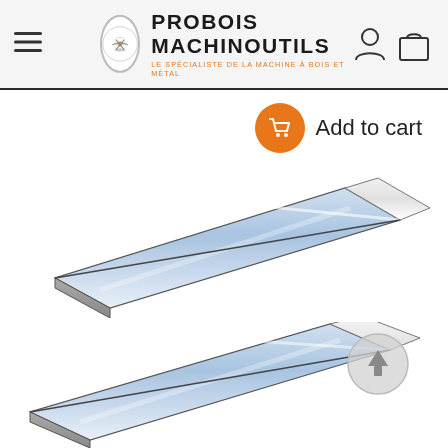PROBOIS MACHINOUTILS — LE SPÉCIALISTE DE LA MACHINE À BOIS ET MÉTAL
Add to cart
[Figure (illustration): Illustration of a flat metal planer/jointer blade (knife) with a bevel edge, shown in perspective view with blue reflective sheen on top face and grey body.]
[Figure (illustration): Second illustration of a flat metal planer/jointer blade (knife) with a bevel edge, similar to the first, partially visible at the bottom of the page, with a circular scroll-to-top arrow icon overlaid at right.]